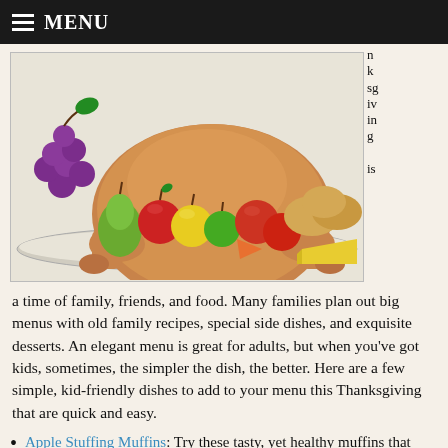MENU
[Figure (illustration): Thanksgiving food spread illustration with turkey, fruits (grapes, pear, apples, tomatoes), bread rolls, and cheese on a platter]
n k sg iv in g is a time of family, friends, and food. Many families plan out big menus with old family recipes, special side dishes, and exquisite desserts. An elegant menu is great for adults, but when you've got kids, sometimes, the simpler the dish, the better. Here are a few simple, kid-friendly dishes to add to your menu this Thanksgiving that are quick and easy.
Apple Stuffing Muffins: Try these tasty, yet healthy muffins that give stuffing a fun, new twist
Turkey Nuggets: Turkey nuggets is a fun new way to serve your kids Thanksgiving turkey
Mac n Cheese: And not from the blue box
Baked Sweet Potatoes with Marshmallow and Bananas: A